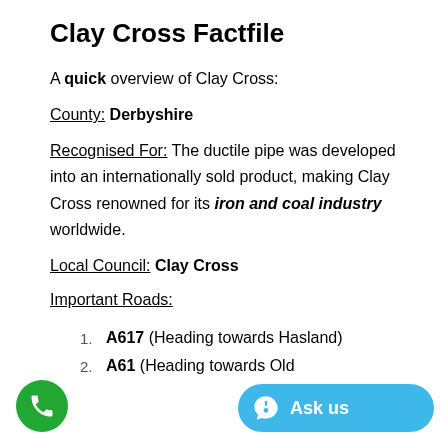Clay Cross Factfile
A quick overview of Clay Cross:
County: Derbyshire
Recognised For: The ductile pipe was developed into an internationally sold product, making Clay Cross renowned for its iron and coal industry worldwide.
Local Council: Clay Cross
Important Roads:
A617 (Heading towards Hasland)
A61 (Heading towards Old...